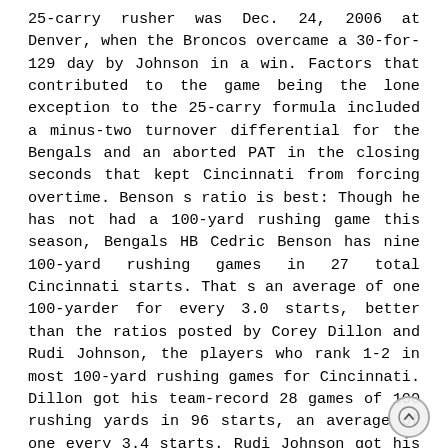25-carry rusher was Dec. 24, 2006 at Denver, when the Broncos overcame a 30-for- 129 day by Johnson in a win. Factors that contributed to the game being the lone exception to the 25-carry formula included a minus-two turnover differential for the Bengals and an aborted PAT in the closing seconds that kept Cincinnati from forcing overtime. Benson s ratio is best: Though he has not had a 100-yard rushing game this season, Bengals HB Cedric Benson has nine 100-yard rushing games in 27 total Cincinnati starts. That s an average of one 100-yarder for every 3.0 starts, better than the ratios posted by Corey Dillon and Rudi Johnson, the players who rank 1-2 in most 100-yard rushing games for Cincinnati. Dillon got his team-record 28 games of 100 rushing yards in 96 starts, an average of one every 3.4 starts. Rudi Johnson got his 19 games of 100 in 59 starts, one for every 3.1 starts. Benson s nine-for-27 is for regular-season games only. He also had a 100-yard game in his only Cincinnati playoff appearance, last year against the N.Y. Jets. His 169 total for that game is a Bengals postseason record. Here s a listing of the 22 players who have hit the 100-yard rushing mark in stripes, with their number of 100-yarders in